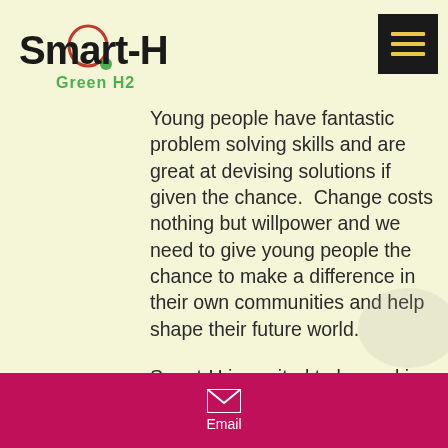[Figure (logo): Smart-H Green H2 logo with red circle around 'a', green dot, and text 'Green H2' in green]
Young people have fantastic problem solving skills and are great at devising solutions if given the chance.  Change costs nothing but willpower and we need to give young people the chance to make a difference in their own communities and help shape their future world.

Smart-H is excited to be working with local councils, school boards and parents to reduce emissions in school zones. We offer several projects that can make huge impacts to the daily air quality of our children both in the classrooms and in the school play
Email